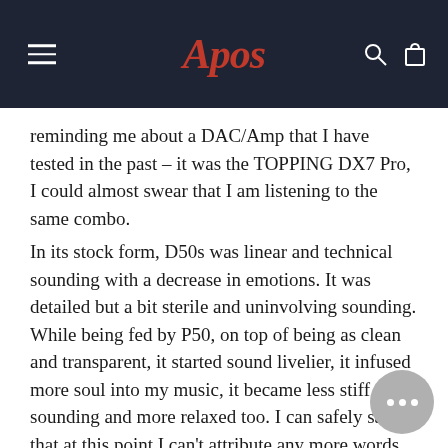Apos
reminding me about a DAC/Amp that I have tested in the past – it was the TOPPING DX7 Pro, I could almost swear that I am listening to the same combo.
In its stock form, D50s was linear and technical sounding with a decrease in emotions. It was detailed but a bit sterile and uninvolving sounding. While being fed by P50, on top of being as clean and transparent, it started sound livelier, it infused more soul into my music, it became less stiff sounding and more relaxed too. I can safely say that at this point I can't attribute any more words as sterile, stiff and bright to D50s.
P50 had the same positive effects on D50s as it h... A50's performance, but to a much bigger degree thanks to that huge decrease in the noise floor. It really depends